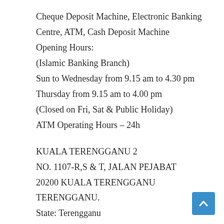Cheque Deposit Machine, Electronic Banking Centre, ATM, Cash Deposit Machine
Opening Hours:
(Islamic Banking Branch)
Sun to Wednesday from 9.15 am to 4.30 pm
Thursday from 9.15 am to 4.00 pm
(Closed on Fri, Sat & Public Holiday)
ATM Operating Hours – 24h
KUALA TERENGGANU 2
NO. 1107-R,S & T, JALAN PEJABAT
20200 KUALA TERENGGANU
TERENGGANU.
State: Terengganu
Phone: 09-624 2505